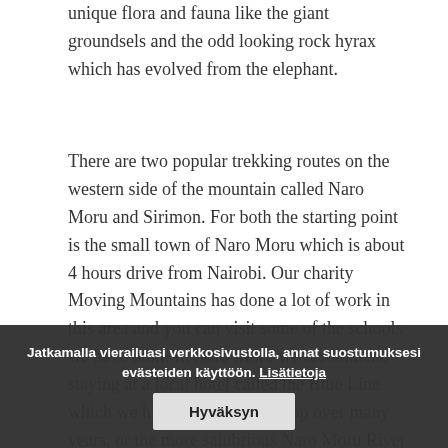unique flora and fauna like the giant groundsels and the odd looking rock hyrax which has evolved from the elephant.
There are two popular trekking routes on the western side of the mountain called Naro Moru and Sirimon. For both the starting point is the small town of Naro Moru which is about 4 hours drive from Nairobi. Our charity Moving Mountains has done a lot of work in this area and you can visit some of the schools we have built. In Naro Moru we recommend staying at a local hotel called the Blue Line which we have helped to develop over many years, or the more salubrious Naro Moru River Lodge.
We would recommend doing the trek by ascending and descending each of the routes to give some variety, and you...
guides... all routes, and they have international first aid certificates. We provide the equipment for camping and cooking, plus the
Jatkamalla vierailuasi verkkosivustolla, annat suostumuksesi evästeiden käyttöön. Lisätietoja